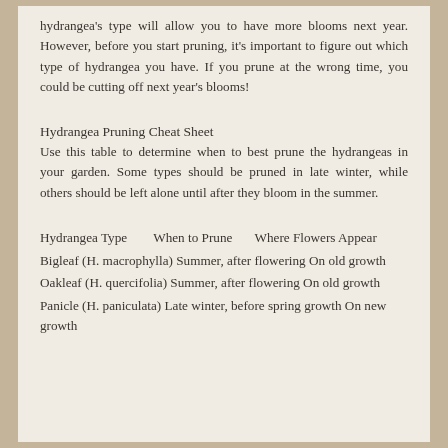hydrangea's type will allow you to have more blooms next year. However, before you start pruning, it's important to figure out which type of hydrangea you have. If you prune at the wrong time, you could be cutting off next year's blooms!
Hydrangea Pruning Cheat Sheet
Use this table to determine when to best prune the hydrangeas in your garden. Some types should be pruned in late winter, while others should be left alone until after they bloom in the summer.
| Hydrangea Type | When to Prune | Where Flowers Appear |
| --- | --- | --- |
| Bigleaf (H. macrophylla) | Summer, after flowering | On old growth |
| Oakleaf (H. quercifolia) | Summer, after flowering | On old growth |
| Panicle (H. paniculata) | Late winter, before spring growth | On new growth |